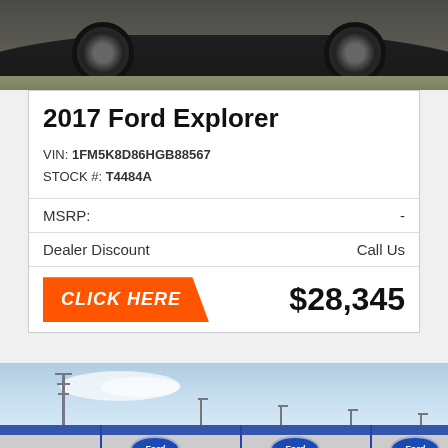[Figure (photo): Rear view of a dark-colored SUV (Ford Explorer) parked on dirt/grassy terrain, showing rear bumper and alloy wheels]
2017 Ford Explorer
VIN: 1FM5K8D86HGB88567
STOCK #: T4484A
| MSRP: | - |
| Dealer Discount | Call Us |
CLICK HERE   $28,345
[Figure (photo): White Ford vehicle parked in front of blue Ford-branded rail freight train cars, with street lamps and a power transmission tower in the background under a partly cloudy sky. An orange 'Top' navigation button is visible in the lower right.]